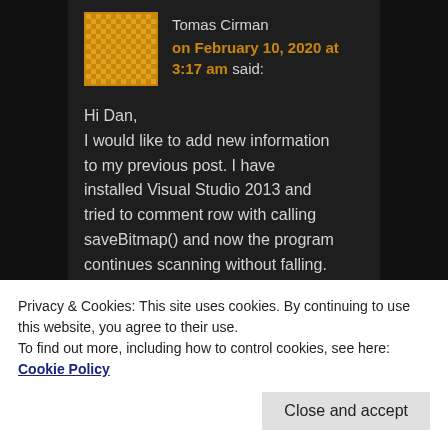Tomas Cirman
on February 10, 2020 at 3:17 am said:
Hi Dan,
I would like to add new information to my previous post. I have installed Visual Studio 2013 and tried to comment row with calling saveBitmap() and now the program continues scanning without falling. After that I returned this rows and then commenented two rows for Saving the image. Now the program falls again. So there will
Privacy & Cookies: This site uses cookies. By continuing to use this website, you agree to their use.
To find out more, including how to control cookies, see here: Cookie Policy
Close and accept